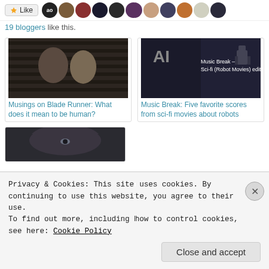[Figure (screenshot): Like button with star icon followed by a row of circular blogger avatar thumbnails]
19 bloggers like this.
[Figure (photo): Movie still showing two people close together, appears to be from Blade Runner]
Musings on Blade Runner: What does it mean to be human?
[Figure (photo): Movie poster collage for sci-fi robot movies with text 'Music Break – Sci-fi (Robot Movies) edition']
Music Break: Five favorite scores from sci-fi movies about robots
[Figure (photo): Partial image of a person's face, partially cropped]
Privacy & Cookies: This site uses cookies. By continuing to use this website, you agree to their use.
To find out more, including how to control cookies, see here: Cookie Policy
Close and accept